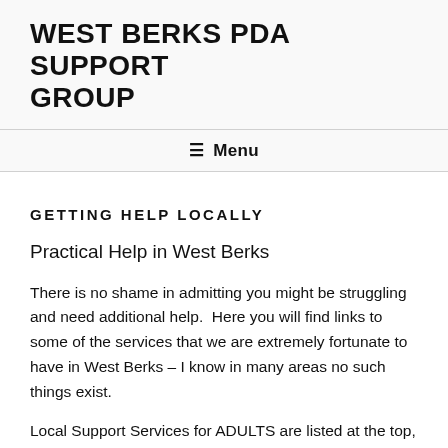WEST BERKS PDA SUPPORT GROUP
≡ Menu
GETTING HELP LOCALLY
Practical Help in West Berks
There is no shame in admitting you might be struggling and need additional help.  Here you will find links to some of the services that we are extremely fortunate to have in West Berks – I know in many areas no such things exist.
Local Support Services for ADULTS are listed at the top, and those for our CHILDREN and young people are